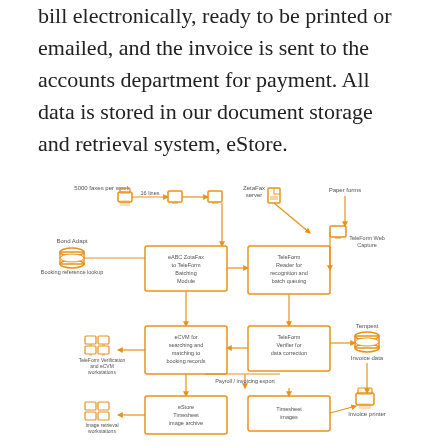bill electronically, ready to be printed or emailed, and the invoice is sent to the accounts department for payment. All data is stored in our document storage and retrieval system, eStore.
[Figure (flowchart): Flowchart showing fax and form processing workflow: 5000 faxes per week go through 16 lines to ZetaFax server and paper forms, through eABC ZetaFax to TeleForm Batching Module, TeleForm Reader for recognition and batch queuing (with TeleForm Web Capture), eCVM for searching and matching to booking records (with TeleForm Verifier for data correction, Tempest, Invoice data, Bond Adapt Booking reference lookup, TeleForm Verification and eCVM workstations), Payroll/invoicing export, eStore Timesheet image archive, Timesheet images (Invoice printer), and Image retrieval workstations.]